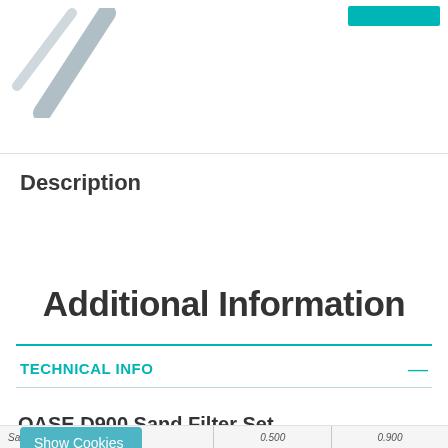[Figure (logo): Diagonal slash logo mark in light gray, upper-left corner of page]
Description
Additional Information
TECHNICAL INFO
OASE D900 Sand Filter Set
Show Cookies
| Sandfilter |  | 0.500 | 0.900 |
| --- | --- | --- | --- |